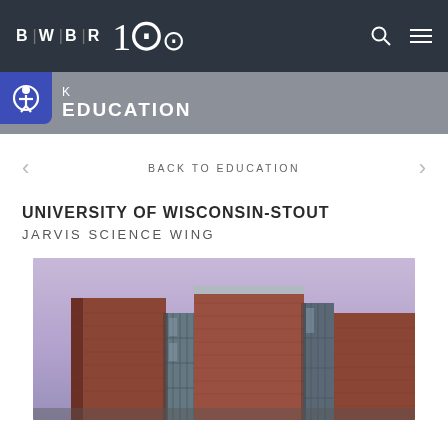BWBR 100 — navigation bar
K EDUCATION
BACK TO EDUCATION
UNIVERSITY OF WISCONSIN-STOUT
JARVIS SCIENCE WING
[Figure (photo): Exterior photograph of the Jarvis Science Wing building at University of Wisconsin-Stout. The building features brick facade with geometric box-like forms, glass curtain wall sections, and is photographed at dusk or dawn against a purple-blue sky.]